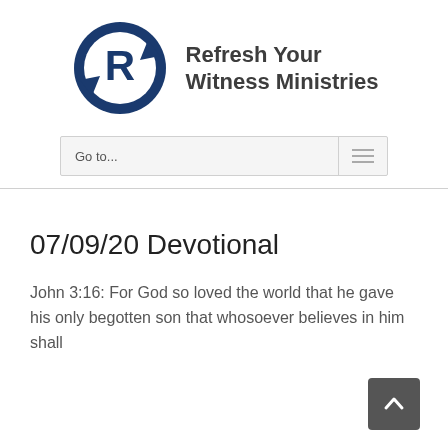[Figure (logo): Refresh Your Witness Ministries logo: a dark blue circular arrow with a stylized R letter inside]
Refresh Your Witness Ministries
Go to...
07/09/20 Devotional
John 3:16: For God so loved the world that he gave his only begotten son that whosoever believes in him shall